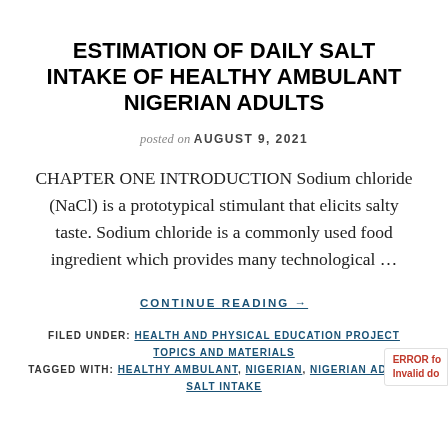ESTIMATION OF DAILY SALT INTAKE OF HEALTHY AMBULANT NIGERIAN ADULTS
posted on AUGUST 9, 2021
CHAPTER ONE INTRODUCTION Sodium chloride (NaCl) is a prototypical stimulant that elicits salty taste. Sodium chloride is a commonly used food ingredient which provides many technological …
CONTINUE READING →
FILED UNDER: HEALTH AND PHYSICAL EDUCATION PROJECT TOPICS AND MATERIALS
TAGGED WITH: HEALTHY AMBULANT, NIGERIAN, NIGERIAN ADULTS, SALT INTAKE